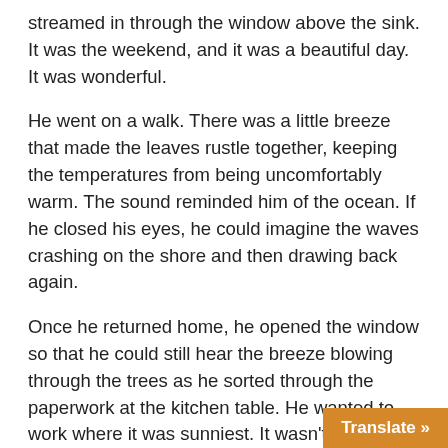streamed in through the window above the sink. It was the weekend, and it was a beautiful day. It was wonderful.
He went on a walk. There was a little breeze that made the leaves rustle together, keeping the temperatures from being uncomfortably warm. The sound reminded him of the ocean. If he closed his eyes, he could imagine the waves crashing on the shore and then drawing back again.
Once he returned home, he opened the window so that he could still hear the breeze blowing through the trees as he sorted through the paperwork at the kitchen table. He wanted to work where it was sunniest. It wasn't fun to be paying bills on a day like this, but he told himself that if he could get everything done by lunchtime, he could eat out on the lawn. It was the perfect day for a picnic.